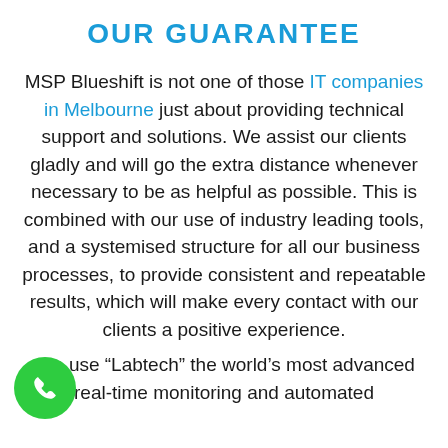OUR GUARANTEE
MSP Blueshift is not one of those IT companies in Melbourne just about providing technical support and solutions. We assist our clients gladly and will go the extra distance whenever necessary to be as helpful as possible. This is combined with our use of industry leading tools, and a systemised structure for all our business processes, to provide consistent and repeatable results, which will make every contact with our clients a positive experience.
use “Labtech” the world’s most advanced real-time monitoring and automated